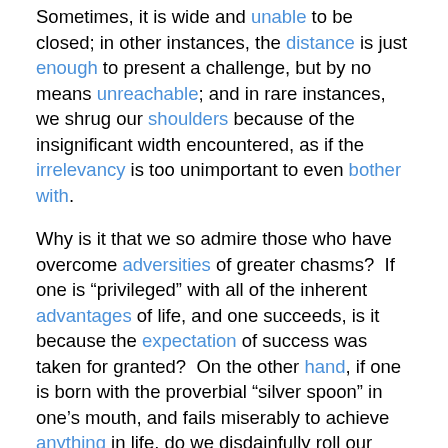Sometimes, it is wide and unable to be closed; in other instances, the distance is just enough to present a challenge, but by no means unreachable; and in rare instances, we shrug our shoulders because of the insignificant width encountered, as if the irrelevancy is too unimportant to even bother with.
Why is it that we so admire those who have overcome adversities of greater chasms? If one is “privileged” with all of the inherent advantages of life, and one succeeds, is it because the expectation of success was taken for granted? On the other hand, if one is born with the proverbial “silver spoon” in one’s mouth, and fails miserably to achieve anything in life, do we disdainfully roll our eyes because we expected so much out of the person and make spurious judgments as to the inner character of such an individual?